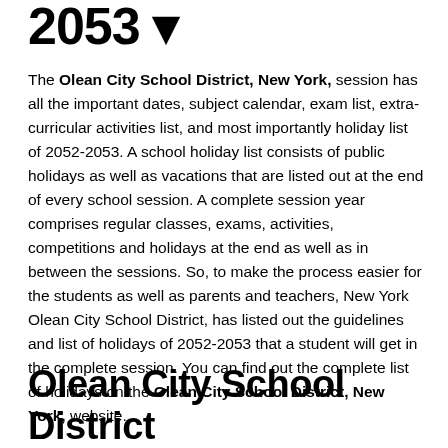2053 ▼
The Olean City School District, New York, session has all the important dates, subject calendar, exam list, extra-curricular activities list, and most importantly holiday list of 2052-2053. A school holiday list consists of public holidays as well as vacations that are listed out at the end of every school session. A complete session year comprises regular classes, exams, activities, competitions and holidays at the end as well as in between the sessions. So, to make the process easier for the students as well as parents and teachers, New York Olean City School District, has listed out the guidelines and list of holidays of 2052-2053 that a student will get in the complete session. You can find out the complete list of holidays on the Olean City School District, New York, website.
Olean City School District